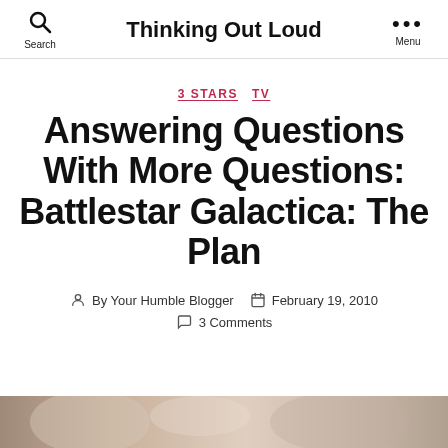Search  Thinking Out Loud  Menu
3 STARS  TV
Answering Questions With More Questions: Battlestar Galactica: The Plan
By Your Humble Blogger  February 19, 2010
3 Comments
[Figure (photo): Bottom portion of a blog page showing a partial photo of people, cropped at page bottom]